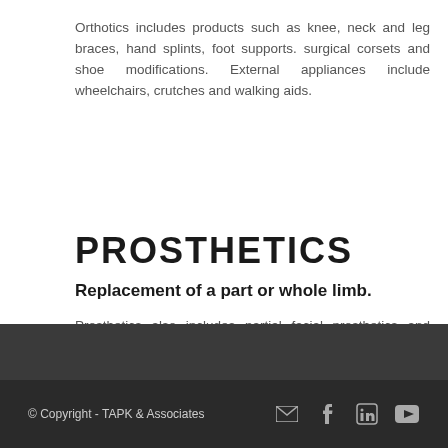Orthotics includes products such as knee, neck and leg braces, hand splints, foot supports. surgical corsets and shoe modifications. External appliances include wheelchairs, crutches and walking aids.
PROSTHETICS
Replacement of a part or whole limb.
Prosthetics also includes partial facial prosthetics and external breast prostheses.
© Copyright - TAPK & Associates